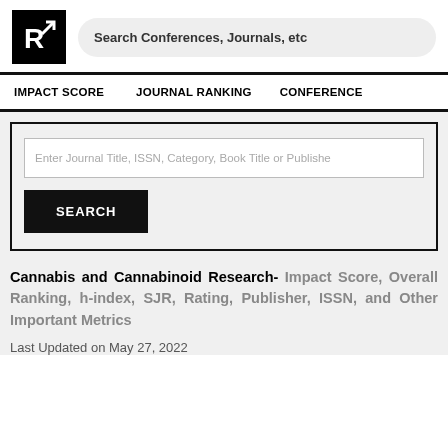[Figure (logo): Research journal ranking site logo — black square with white letter R arrow icon]
Search Conferences, Journals, etc
IMPACT SCORE   JOURNAL RANKING   CONFERENCE
Enter Journal Title, ISSN, Category, Book Title or Publisher
SEARCH
Cannabis and Cannabinoid Research- Impact Score, Overall Ranking, h-index, SJR, Rating, Publisher, ISSN, and Other Important Metrics
Last Updated on May 27, 2022